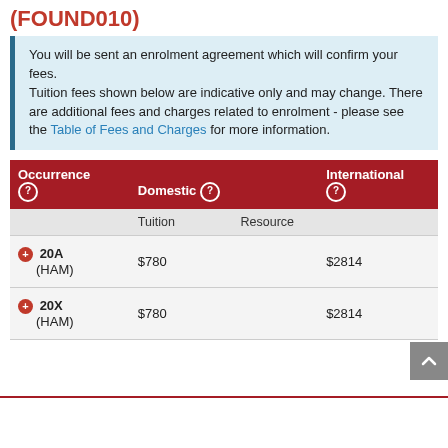(FOUND010)
You will be sent an enrolment agreement which will confirm your fees.
Tuition fees shown below are indicative only and may change. There are additional fees and charges related to enrolment - please see the Table of Fees and Charges for more information.
| Occurrence (?) | Domestic (?) Tuition | Domestic (?) Resource | International (?) |
| --- | --- | --- | --- |
| 20A (HAM) | $780 |  | $2814 |
| 20X (HAM) | $780 |  | $2814 |